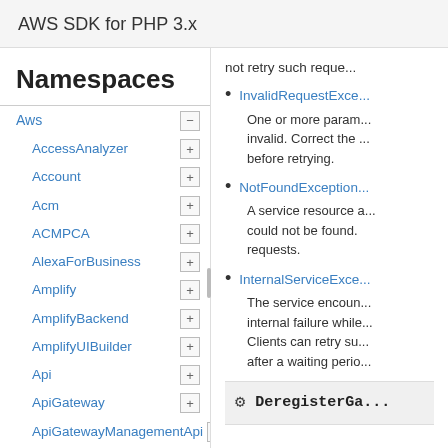AWS SDK for PHP 3.x
Namespaces
Aws
AccessAnalyzer
Account
Acm
ACMPCA
AlexaForBusiness
Amplify
AmplifyBackend
AmplifyUIBuilder
Api
ApiGateway
ApiGatewayManagementApi
not retry such reque...
InvalidRequestExce...
One or more param... invalid. Correct the ... before retrying.
NotFoundException...
A service resource a... could not be found. ... requests.
InternalServiceExce...
The service encoun... internal failure while... Clients can retry su... after a waiting perio...
DeregisterGa...